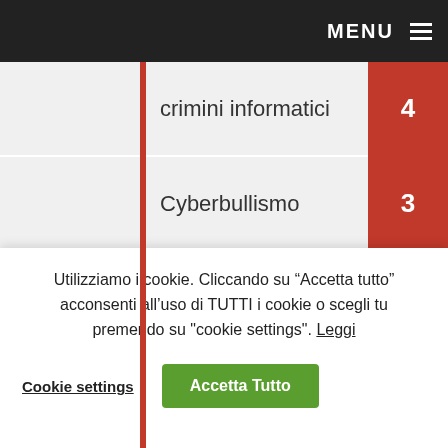MENU
crimini informatici  4
Cyberbullismo  3
Dati Personali e Privacy  9
deepfake  8
Denuncia  6
Difesa delle Donne  1
Utilizziamo i cookie. Cliccando su “Accetta tutto” acconsenti all’uso di TUTTI i cookie o scegli tu premendo su "cookie settings". Leggi
Cookie settings  Accetta Tutto